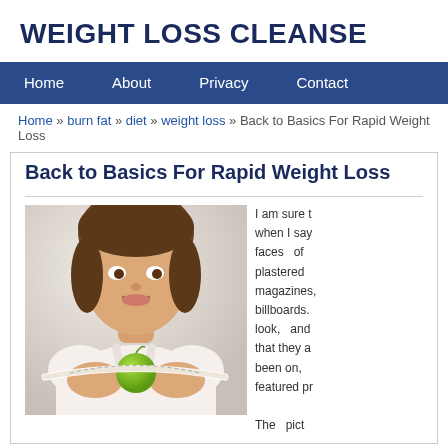WEIGHT LOSS CLEANSE
Home | About | Privacy | Contact
Home » burn fat » diet » weight loss » Back to Basics For Rapid Weight Loss
Back to Basics For Rapid Weight Loss
[Figure (photo): Woman smiling and holding a green apple wrapped with a measuring tape]
I am sure that when I say the faces of plastered magazines, billboards. look, and that they a been on, featured pr